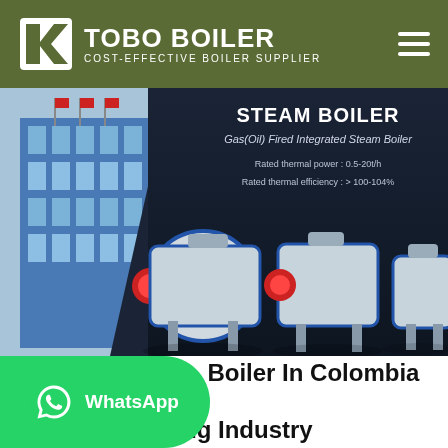TOBO BOILER — COST-EFFECTIVE BOILER SUPPLIER
[Figure (screenshot): Steam Boiler product banner showing Gas(Oil) Fired Integrated Steam Boiler with specs: Rated thermal power: 0.5-20t/h, Rated thermal efficiency: > 100-104%. Shows building exterior on left and three industrial boiler units on dark background.]
Industrial Steam Boiler In Colombia Use ating Industry
[Figure (logo): WhatsApp button (green rounded rectangle with WhatsApp icon and text 'WhatsApp')]